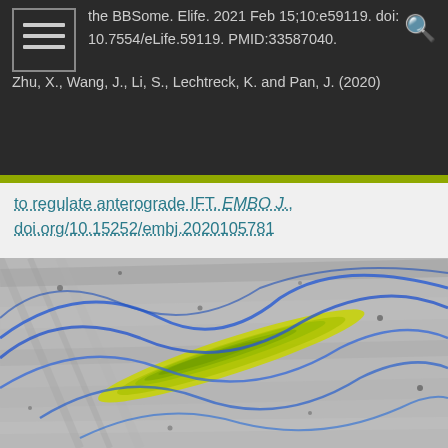the BBSome. Elife. 2021 Feb 15;10:e59119. doi: 10.7554/eLife.59119. PMID:33587040.
Zhu, X., Wang, J., Li, S., Lechtreck, K. and Pan, J. (2020)
to regulate anterograde IFT. EMBO J., doi.org/10.15252/embj.2020105781
2020
Yu, K., Liu, P., Venkatachalam, D. Hopkinson, B.M. Lechtreck, K.-F. (2020) The BBSome restricts entry of tagged carbonic anhydrase 6 into the cis-flagellum of
[Figure (photo): Microscopy image of a flagellum/cilium with green-yellow elongated structure and blue curved lines against a gray background, appearing to be a fluorescence or electron microscopy image of Chlamydomonas or similar organism.]